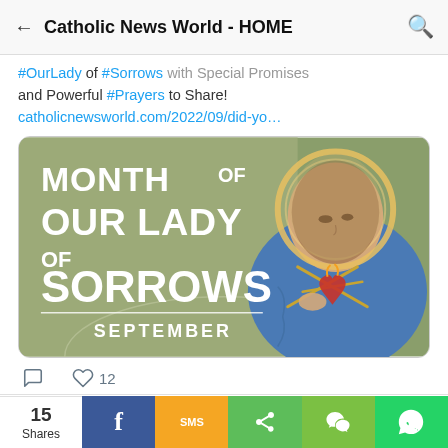Catholic News World - HOME
#OurLady of #Sorrows with Special Promises and Powerful #Prayers to Share! catholicnewsworld.com/2022/09/did-yo…
[Figure (illustration): Month of Our Lady of Sorrows - September. Illustration of Virgin Mary with swords piercing her heart, with bold white text overlay on green background.]
12 likes, comment icon and heart icon
Catholic News W... @catholicne... · 9h #Pope Francis Explains "The mystery of our
15 Shares - Facebook, SMS, Share, WeChat, WhatsApp buttons